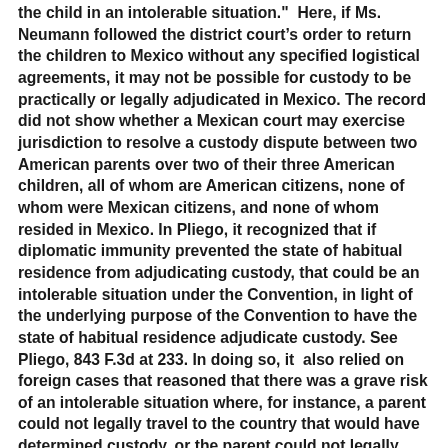the child in an intolerable situation." Here, if Ms. Neumann followed the district court's order to return the children to Mexico without any specified logistical agreements, it may not be possible for custody to be practically or legally adjudicated in Mexico. The record did not show whether a Mexican court may exercise jurisdiction to resolve a custody dispute between two American parents over two of their three American children, all of whom are American citizens, none of whom were Mexican citizens, and none of whom resided in Mexico. In Pliego, it recognized that if diplomatic immunity prevented the state of habitual residence from adjudicating custody, that could be an intolerable situation under the Convention, in light of the underlying purpose of the Convention to have the state of habitual residence adjudicate custody. See Pliego, 843 F.3d at 233. In doing so, it  also relied on foreign cases that reasoned that there was a grave risk of an intolerable situation where, for instance, a parent could not legally travel to the country that would have determined custody, or the parent could not legally represent his or her interest and the child's interest in the subsequent litigation. Similarly, if Mexican courts continued to have...